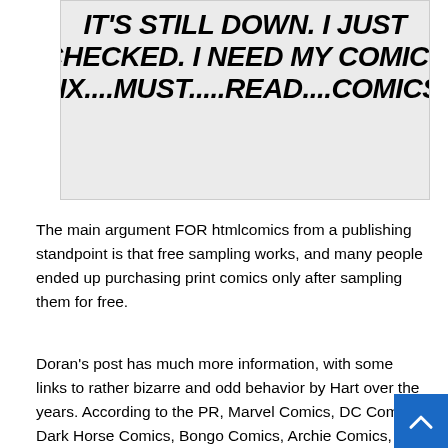[Figure (other): Light gray comic speech bubble box with bold italic text reading: IT'S STILL DOWN. I JUST CHECKED. I NEED MY COMICS FIX....MUST.....READ....COMICS.]
The main argument FOR htmlcomics from a publishing standpoint is that free sampling works, and many people ended up purchasing print comics only after sampling them for free.
Doran's post has much more information, with some links to rather bizarre and odd behavior by Hart over the years. According to the PR, Marvel Comics, DC Comics, Dark Horse Comics, Bongo Comics, Archie Comics, Conan Properties Inc